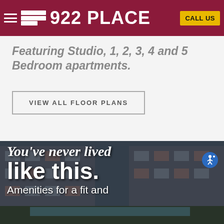922 PLACE — CALL US
Featuring Studio, 1, 2, 3, 4 and 5 Bedroom apartments.
VIEW ALL FLOOR PLANS
[Figure (photo): Exterior of modern apartment building complex with balconies, red and gray panels, and a pool area in the foreground. Overlaid text reads: You've never lived like this. Amenities for a fit and]
You've never lived like this. Amenities for a fit and